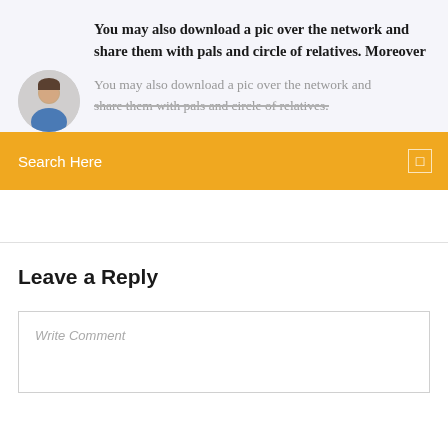You may also download a pic over the network and share them with pals and circle of relatives. Moreover
You may also download a pic over the network and share them with pals and circle of relatives.
Search Here
Leave a Reply
Write Comment